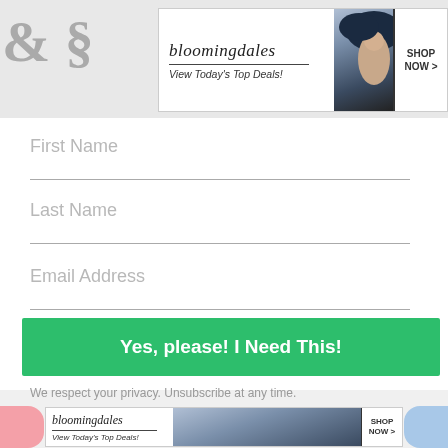[Figure (screenshot): Bloomingdale's advertisement banner at top: 'bloomingdales / View Today's Top Deals!' with fashion model and 'SHOP NOW' button]
First Name
Last Name
Email Address
Yes, please! I Need This!
We respect your privacy. Unsubscribe at any time.
BUILT WITH ConvertKit CLOSE
[Figure (screenshot): Bloomingdale's advertisement banner at bottom: 'bloomingdales / View Today's Top Deals!' with fashion model and 'SHOP NOW' button]